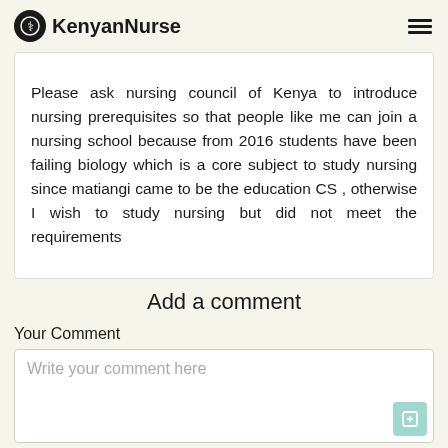KenyanNurse
Please ask nursing council of Kenya to introduce nursing prerequisites so that people like me can join a nursing school because from 2016 students have been failing biology which is a core subject to study nursing since matiangi came to be the education CS , otherwise I wish to study nursing but did not meet the requirements
Add a comment
Your Comment
Write your comment here